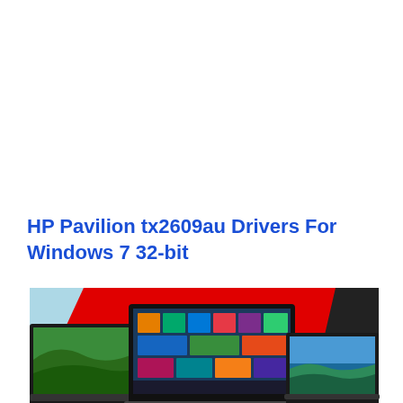HP Pavilion tx2609au Drivers For Windows 7 32-bit
[Figure (photo): Promotional banner showing three laptops on a red and light blue background. Center laptop shows Windows 10 Start menu. Left laptop shows aerial green landscape. Right laptop shows a coastal landscape.]